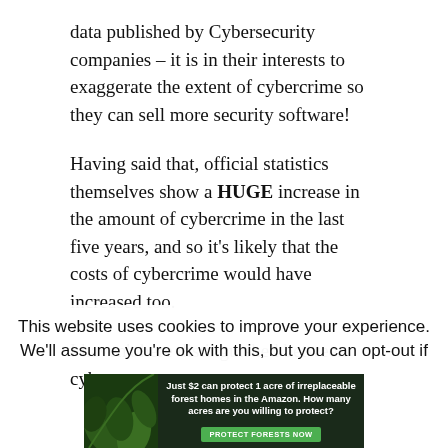data published by Cybersecurity companies – it is in their interests to exaggerate the extent of cybercrime so they can sell more security software!
Having said that, official statistics themselves show a HUGE increase in the amount of cybercrime in the last five years, and so it's likely that the costs of cybercrime would have increased too.
I haven't here distinguished between cyber
This website uses cookies to improve your experience. We'll assume you're ok with this, but you can opt-out if
[Figure (infographic): Advertisement banner: dark forest background with leaves. Text reads 'Just $2 can protect 1 acre of irreplaceable forest homes in the Amazon. How many acres are you willing to protect?' with a green 'PROTECT FORESTS NOW' button.]